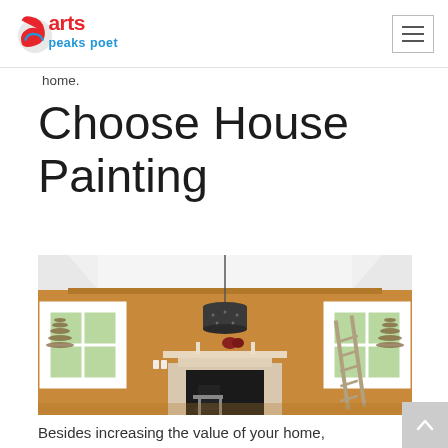arts peaks poet
home.
Choose House Painting
[Figure (photo): Interior room with golden/mustard yellow painted walls, white tray ceiling with decorative molding, a dark pendant light chandelier hanging from center, a fireplace with stone surround, two white-framed windows with wicker baskets and a painter's ladder visible]
Besides increasing the value of your home,